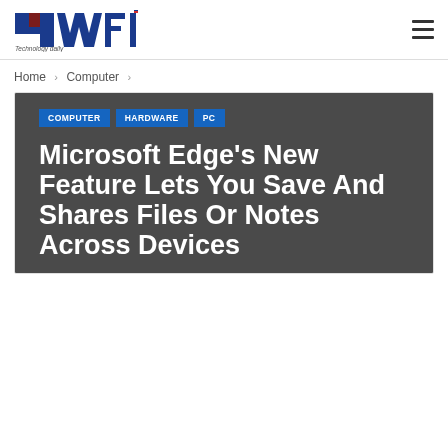4WFI Technology [logo] — hamburger menu
Home > Computer
[Figure (screenshot): Article hero card with dark grey background, category tags (COMPUTER, HARDWARE, PC) and large white bold title text: Microsoft Edge's New Feature Lets You Save And Shares Files Or Notes Across Devices]
Microsoft Edge's New Feature Lets You Save And Shares Files Or Notes Across Devices